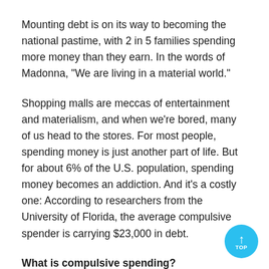Mounting debt is on its way to becoming the national pastime, with 2 in 5 families spending more money than they earn. In the words of Madonna, "We are living in a material world."
Shopping malls are meccas of entertainment and materialism, and when we're bored, many of us head to the stores. For most people, spending money is just another part of life. But for about 6% of the U.S. population, spending money becomes an addiction. And it's a costly one: According to researchers from the University of Florida, the average compulsive spender is carrying $23,000 in debt.
What is compulsive spending?
Like alcohol, food, or gambling, spending can becom